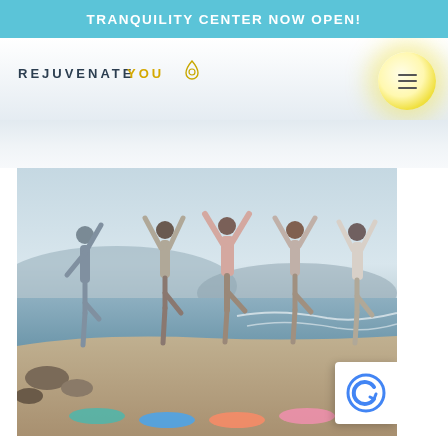TRANQUILITY CENTER NOW OPEN!
[Figure (logo): Rejuvenate You logo with droplet icon — text reads REJUVENATE YOU with a teardrop/location pin icon in gold]
[Figure (photo): Five women doing tree pose yoga on a beach, arms raised, with ocean waves and misty hills in the background, standing on colorful yoga mats]
[Figure (other): Google reCAPTCHA badge (the reCAPTCHA 'C' logo in blue on a white rounded rectangle)]